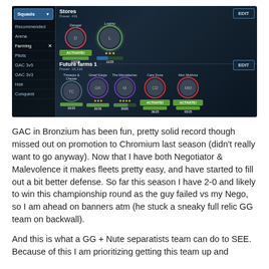[Figure (screenshot): Mobile game screenshot showing squad management UI with 'Squads' sidebar (Recommended, Arena, Farming, Pilots, GAC 3v5, GAC 3v3, Hstr, Conquest), a 'Stores' section with Dengar and Logray characters with ACTIVATE! buttons and progress bars, and a 'Future farms 1' section with Threepio & Chewie, Greel Karga, The Mandalorian, Cara Dune (ACTIVATE!), and Mon Mothma (ACTIVATE!) characters with progress bars.]
GAC in Bronzium has been fun, pretty solid record though missed out on promotion to Chromium last season (didn't really want to go anyway). Now that I have both Negotiator & Malevolence it makes fleets pretty easy, and have started to fill out a bit better defense. So far this season I have 2-0 and likely to win this championship round as the guy failed vs my Nego, so I am ahead on banners atm (he stuck a sneaky full relic GG team on backwall).
And this is what a GG + Nute separatists team can do to SEE. Because of this I am prioritizing getting this team up and